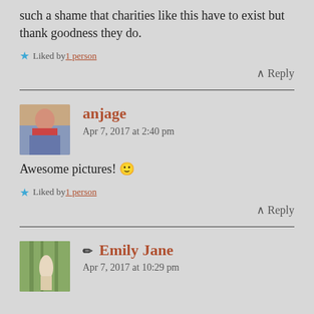such a shame that charities like this have to exist but thank goodness they do.
★ Liked by 1 person
↑ Reply
anjage
Apr 7, 2017 at 2:40 pm
Awesome pictures! 🙂
★ Liked by 1 person
↑ Reply
✏ Emily Jane
Apr 7, 2017 at 10:29 pm